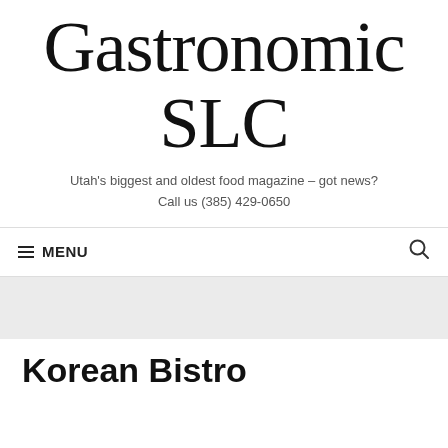Gastronomic SLC
Utah's biggest and oldest food magazine – got news?
Call us (385) 429-0650
≡ MENU
Korean Bistro